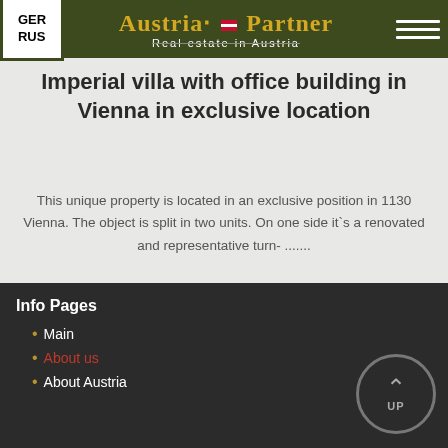GER RUS | Austria Partner Real estate in Austria
Imperial villa with office building in Vienna in exclusive location
This unique property is located in an exclusive position in 1130 Vienna. The object is split in two units. On one side it`s a renovated and representative turn- .......
1 - 2 - 3
Info Pages
• Main
• About us
• About Austria